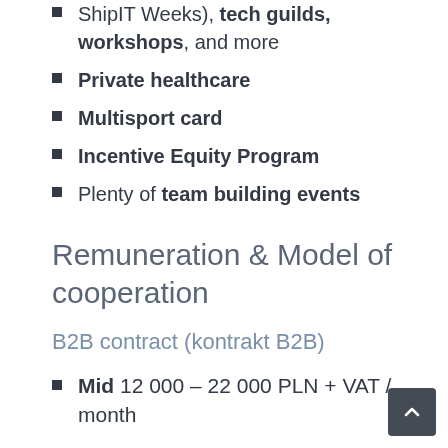ShipIT Weeks), tech guilds, workshops, and more
Private healthcare
Multisport card
Incentive Equity Program
Plenty of team building events
Remuneration & Model of cooperation
B2B contract (kontrakt B2B)
Mid 12 000 – 22 000 PLN + VAT / month